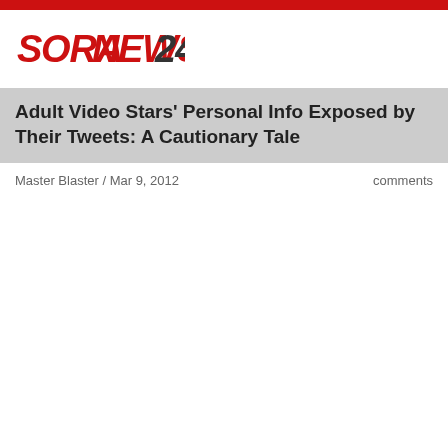SoraNews24
Adult Video Stars' Personal Info Exposed by Their Tweets: A Cautionary Tale
Master Blaster / Mar 9, 2012
comments